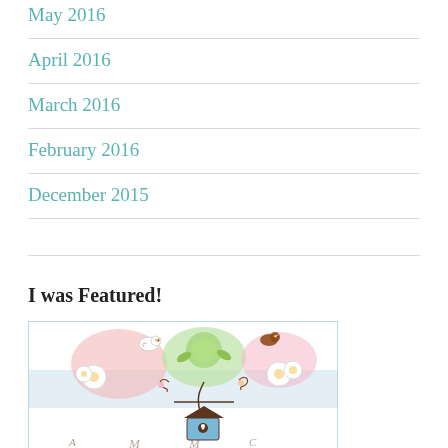May 2016
April 2016
March 2016
February 2016
December 2015
I was Featured!
[Figure (illustration): Decorative illustration with birds, flowers, a birdhouse, and floral swirls on a light blue background. Decorative cursive text at the bottom.]